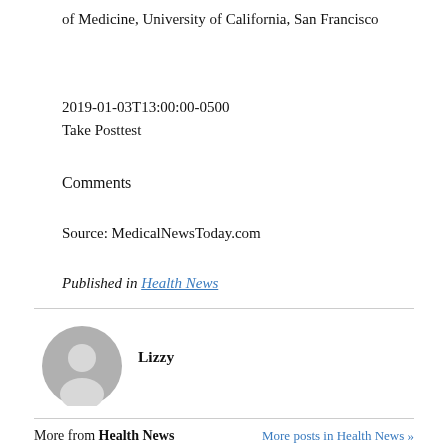of Medicine, University of California, San Francisco
2019-01-03T13:00:00-0500
Take Posttest
Comments
Source: MedicalNewsToday.com
Published in Health News
[Figure (illustration): User avatar icon — grey circle with silhouette of a person]
Lizzy
More from Health News
More posts in Health News »